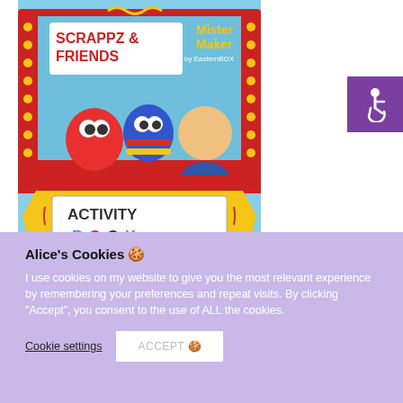[Figure (photo): Cover of Mister Maker Scrappz & Friends Activity Book showing puppet characters and a man in a colorful stage/booth setting]
[Figure (logo): Purple accessibility icon button (wheelchair symbol) in top-right corner]
Alice's Cookies 🍪
I use cookies on my website to give you the most relevant experience by remembering your preferences and repeat visits. By clicking "Accept", you consent to the use of ALL the cookies.
Cookie settings   ACCEPT 🍪